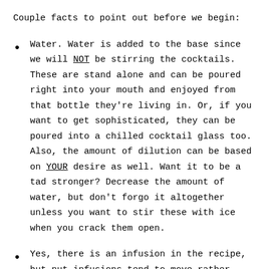Couple facts to point out before we begin:
Water. Water is added to the base since we will NOT be stirring the cocktails. These are stand alone and can be poured right into your mouth and enjoyed from that bottle they're living in. Or, if you want to get sophisticated, they can be poured into a chilled cocktail glass too. Also, the amount of dilution can be based on YOUR desire as well. Want it to be a tad stronger? Decrease the amount of water, but don't forgo it altogether unless you want to stir these with ice when you crack them open.
Yes, there is an infusion in the recipe, but nut infusions tend to move rather quickly. 24 hours isn't that long if you're already dedicated to the